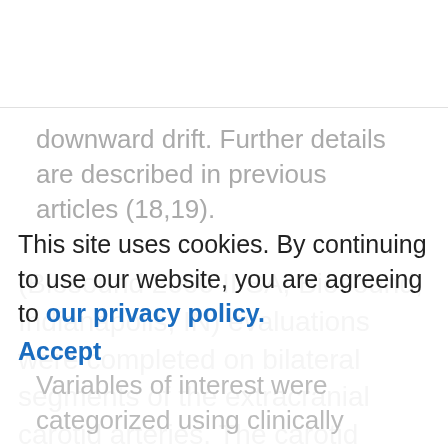(Biosound 2000 II SA, Biosound, Indianapolis, IN) evaluations were completed on bilateral segments of the extracranial carotid arteries. The carotid artery was divided into three 1-cm regions and readers measured IMT within these regions. If the participants had missing IMT information from any carotid artery site, values were imputed for missing sites based on sex and race. Mean far wall IMT was also adjusted for reader differences and
downward drift. Further details are described in previous articles (18,19).
This site uses cookies. By continuing to use our website, you are agreeing to our privacy policy. Accept
Variables of interest were categorized using clinically